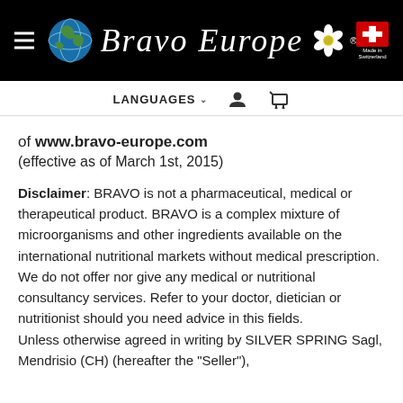[Figure (logo): Bravo Europe logo on black background with globe icon, edelweiss flower, brand name in cursive script, and Swiss Made flag badge]
LANGUAGES  [user icon]  [cart icon]
of www.bravo-europe.com
(effective as of March 1st, 2015)
Disclaimer: BRAVO is not a pharmaceutical, medical or therapeutical product. BRAVO is a complex mixture of microorganisms and other ingredients available on the international nutritional markets without medical prescription. We do not offer nor give any medical or nutritional consultancy services. Refer to your doctor, dietician or nutritionist should you need advice in this fields.
Unless otherwise agreed in writing by SILVER SPRING Sagl, Mendrisio (CH) (hereafter the "Seller"),